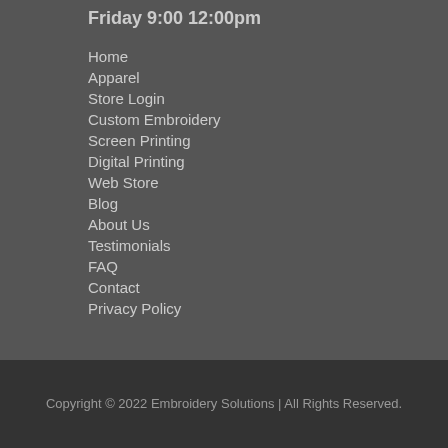Friday 9:00 12:00pm
Home
Apparel
Store Login
Custom Embroidery
Screen Printing
Digital Printing
Web Store
Blog
About Us
Testimonials
FAQ
Contact
Privacy Policy
Copyright © 2022 Embroidery Solutions | All Rights Reserved.